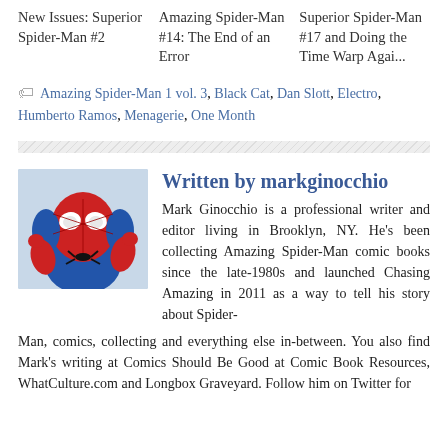New Issues: Superior Spider-Man #2
Amazing Spider-Man #14: The End of an Error
Superior Spider-Man #17 and Doing the Time Warp Agai...
Amazing Spider-Man 1 vol. 3, Black Cat, Dan Slott, Electro, Humberto Ramos, Menagerie, One Month
[Figure (photo): Spider-Man photo/illustration used as author avatar]
Written by markginochio
Mark Ginocchio is a professional writer and editor living in Brooklyn, NY. He's been collecting Amazing Spider-Man comic books since the late-1980s and launched Chasing Amazing in 2011 as a way to tell his story about Spider-Man, comics, collecting and everything else in-between. You also find Mark's writing at Comics Should Be Good at Comic Book Resources, WhatCulture.com and Longbox Graveyard. Follow him on Twitter for